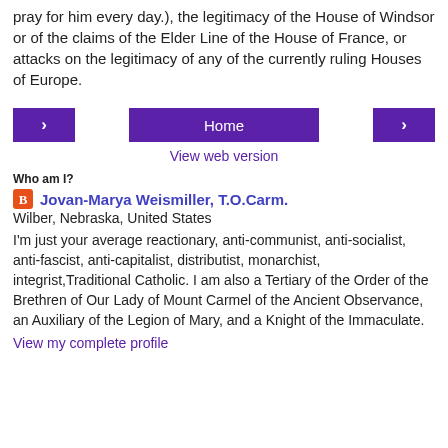pray for him every day.), the legitimacy of the House of Windsor or of the claims of the Elder Line of the House of France, or attacks on the legitimacy of any of the currently ruling Houses of Europe.
[Figure (other): Navigation bar with left arrow button, Home button, and right arrow button, all in purple]
View web version
Who am I?
Jovan-Marya Weismiller, T.O.Carm.
Wilber, Nebraska, United States
I'm just your average reactionary, anti-communist, anti-socialist, anti-fascist, anti-capitalist, distributist, monarchist, integrist,Traditional Catholic. I am also a Tertiary of the Order of the Brethren of Our Lady of Mount Carmel of the Ancient Observance, an Auxiliary of the Legion of Mary, and a Knight of the Immaculate.
View my complete profile